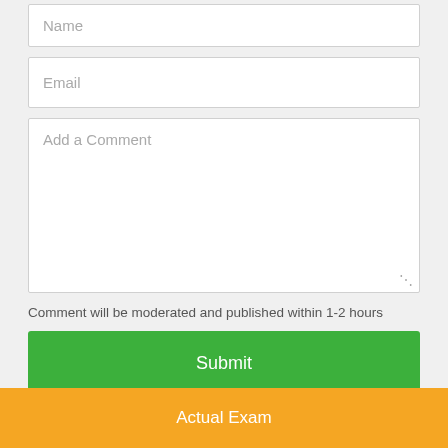Name
Email
Add a Comment
Comment will be moderated and published within 1-2 hours
Submit
Actual Exam